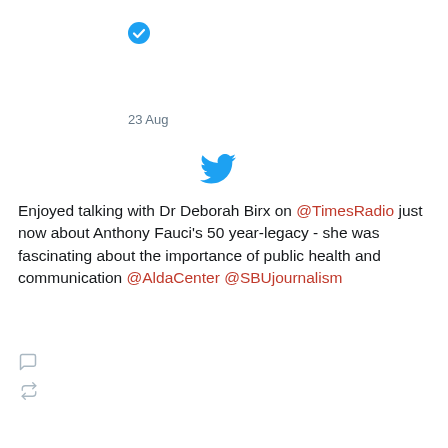[Figure (illustration): Twitter verified badge (blue checkmark circle) icon]
23 Aug
[Figure (logo): Twitter bird logo in blue]
Enjoyed talking with Dr Deborah Birx on @TimesRadio just now about Anthony Fauci’s 50 year-legacy - she was fascinating about the importance of public health and communication @AldaCenter @SBUjournalism
[Figure (illustration): Reply icon (speech bubble outline)]
[Figure (illustration): Retweet icon (two arrows forming a cycle)]